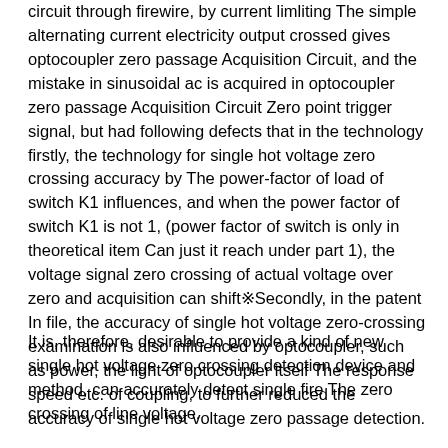circuit through firewire, by current limliting The simple alternating current electricity output crossed gives optocoupler zero passage Acquisition Circuit, and the mistake in sinusoidal ac is acquired in optocoupler zero passage Acquisition Circuit Zero point trigger signal, but had following defects that in the technology firstly, the technology for single hot voltage zero crossing accuracy by The power-factor of load of switch K1 influences, and when the power factor of switch K1 is not 1, (power factor of switch is only in theoretical item Can just it reach under part 1), the voltage signal zero crossing of actual voltage over zero and acquisition can shift※Secondly, in the patent In file, the accuracy of single hot voltage zero-crossing examination is also influenced by optocoupler, such as power, the light of optocoupler itself The response speed etc. of coupling, to further reduced the accuracy of single hot voltage zero passage detection.
It is, therefore, desirable to provide a kind of new single hot voltage zero crossing detection device and method, can accurately detect single fire The zero crossing of line voltage.